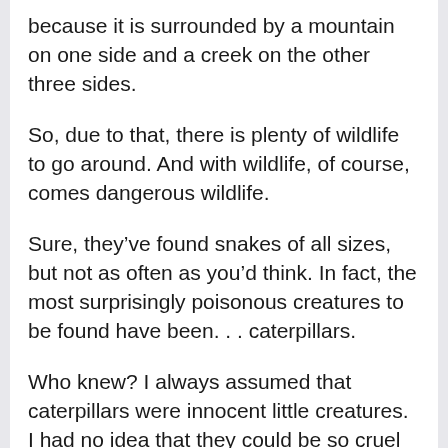because it is surrounded by a mountain on one side and a creek on the other three sides.
So, due to that, there is plenty of wildlife to go around. And with wildlife, of course, comes dangerous wildlife.
Sure, they've found snakes of all sizes, but not as often as you'd think. In fact, the most surprisingly poisonous creatures to be found have been. . . caterpillars.
Who knew? I always assumed that caterpillars were innocent little creatures. I had no idea that they could be so cruel and vindictive.
A couple of pages was about some of the...